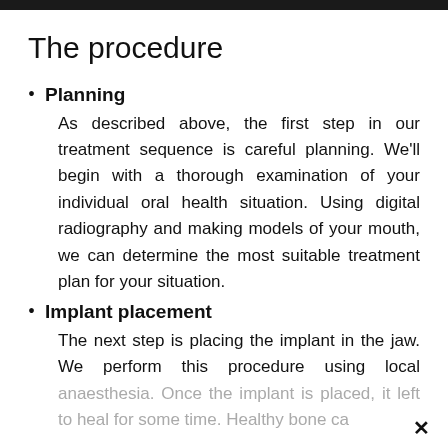The procedure
Planning
As described above, the first step in our treatment sequence is careful planning. We'll begin with a thorough examination of your individual oral health situation. Using digital radiography and making models of your mouth, we can determine the most suitable treatment plan for your situation.
Implant placement
The next step is placing the implant in the jaw. We perform this procedure using local anaesthesia. Once the implant is placed, it left to heal for some time. Healthy bone ca